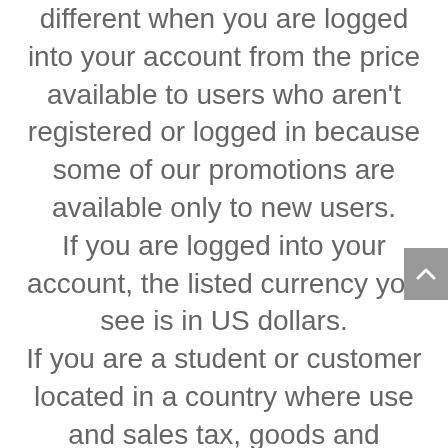different when you are logged into your account from the price available to users who aren't registered or logged in because some of our promotions are available only to new users. If you are logged into your account, the listed currency you see is in US dollars. If you are a student or customer located in a country where use and sales tax, goods and services tax, or value-added tax is applicable to consumer sales, we are responsible for collecting and remitting that tax to the proper tax authorities. Depending on your location, the